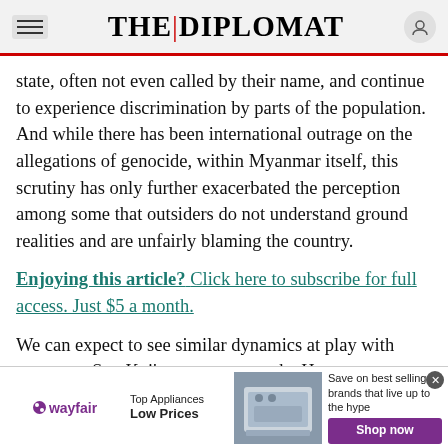THE DIPLOMAT
state, often not even called by their name, and continue to experience discrimination by parts of the population. And while there has been international outrage on the allegations of genocide, within Myanmar itself, this scrutiny has only further exacerbated the perception among some that outsiders do not understand ground realities and are unfairly blaming the country.
Enjoying this article? Click here to subscribe for full access. Just $5 a month.
We can expect to see similar dynamics at play with respect to Suu Kyi's appearance at the Hague, even
[Figure (screenshot): Wayfair advertisement banner: Top Appliances Low Prices, Save on best selling brands that live up to the hype, Shop now button, appliance image]